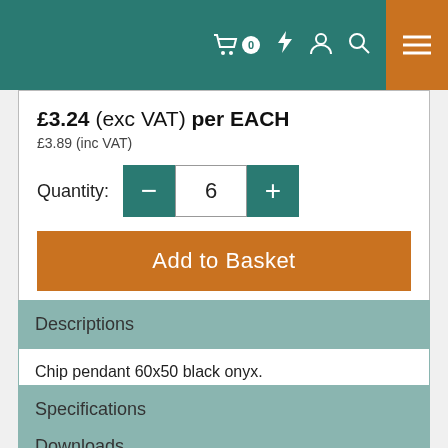Navigation bar with cart (0), lightning, user, search icons and menu button
£3.24 (exc VAT) per EACH
£3.89 (inc VAT)
Quantity: 6
Add to Basket
Descriptions
Chip pendant 60x50 black onyx.
Specifications
Downloads